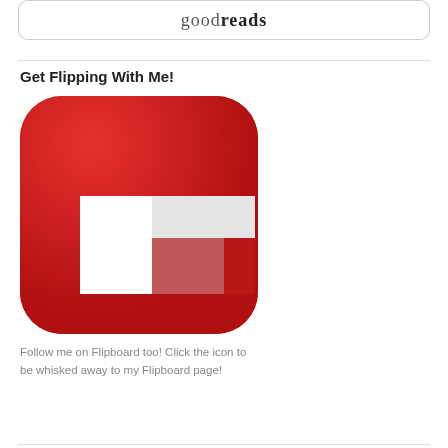[Figure (logo): Goodreads logo text inside a rounded rectangle box at the top of the page]
Get Flipping With Me!
[Figure (logo): Flipboard app icon — red rounded square with a white F-shaped logo mark (composed of white and light grey rectangles)]
Follow me on Flipboard too! Click the icon to be whisked away to my Flipboard page!